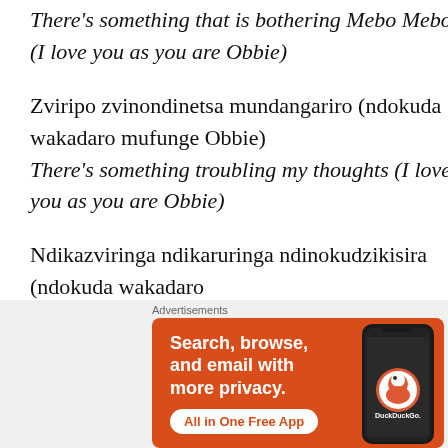There's something that is bothering Mebo Mebo (I love you as you are Obbie)
Zviripo zvinondinetsa mundangariro (ndokuda wakadaro mufunge Obbie) There's something troubling my thoughts (I love you as you are Obbie)
Ndikazviringa ndikaruringa ndinokudzikisira (ndokuda wakadaro
[Figure (other): DuckDuckGo advertisement banner: orange background with text 'Search, browse, and email with more privacy. All in One Free App' and DuckDuckGo logo on a phone graphic]